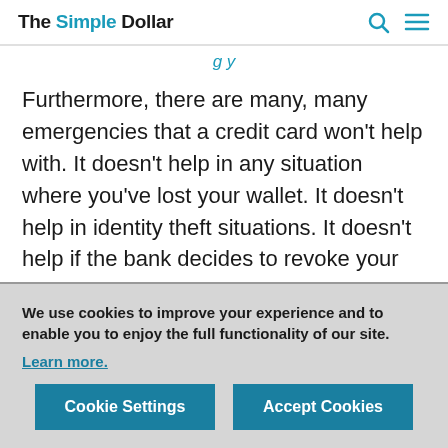The Simple Dollar
g y
Furthermore, there are many, many emergencies that a credit card won't help with. It doesn't help in any situation where you've lost your wallet. It doesn't help in identity theft situations. It doesn't help if the bank decides to revoke your line of credit. Cash, however, does fine in those situations.
We use cookies to improve your experience and to enable you to enjoy the full functionality of our site.
Learn more.
Cookie Settings
Accept Cookies